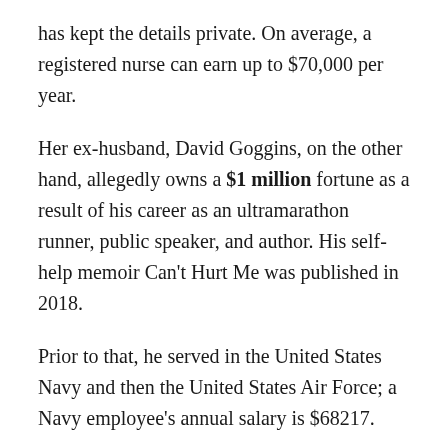has kept the details private. On average, a registered nurse can earn up to $70,000 per year.
Her ex-husband, David Goggins, on the other hand, allegedly owns a $1 million fortune as a result of his career as an ultramarathon runner, public speaker, and author. His self-help memoir Can't Hurt Me was published in 2018.
Prior to that, he served in the United States Navy and then the United States Air Force; a Navy employee's annual salary is $68217.
Is Divorce Caused By David Goggins' Unsuccessful Married Life?